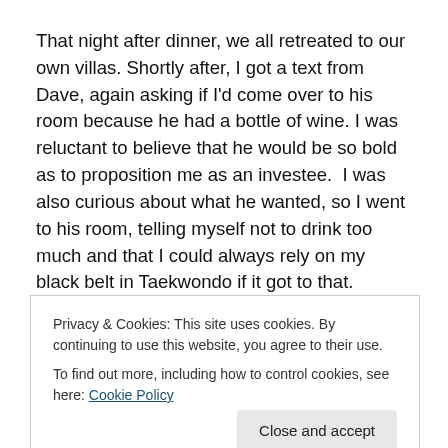That night after dinner, we all retreated to our own villas. Shortly after, I got a text from Dave, again asking if I'd come over to his room because he had a bottle of wine. I was reluctant to believe that he would be so bold as to proposition me as an investee.  I was also curious about what he wanted, so I went to his room, telling myself not to drink too much and that I could always rely on my black belt in Taekwondo if it got to that.
But I didn't need to defend myself at all that night. We chatted all night over a bottle of wine, Dave sitting across
Privacy & Cookies: This site uses cookies. By continuing to use this website, you agree to their use.
To find out more, including how to control cookies, see here: Cookie Policy
confided in me and encouraged him to share it with the